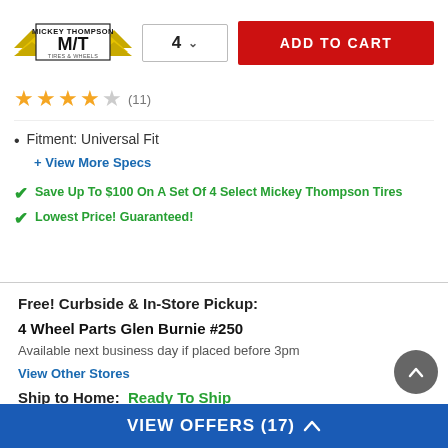[Figure (logo): Mickey Thompson M/T Tires & Wheels logo with wings]
4 ∨
ADD TO CART
★★★★☆ (11)
Fitment: Universal Fit
+ View More Specs
✔ Save Up To $100 On A Set Of 4 Select Mickey Thompson Tires
✔ Lowest Price! Guaranteed!
Free! Curbside & In-Store Pickup:
4 Wheel Parts Glen Burnie #250
Available next business day if placed before 3pm
View Other Stores
Ship to Home:  Ready To Ship
VIEW OFFERS (17) ∧